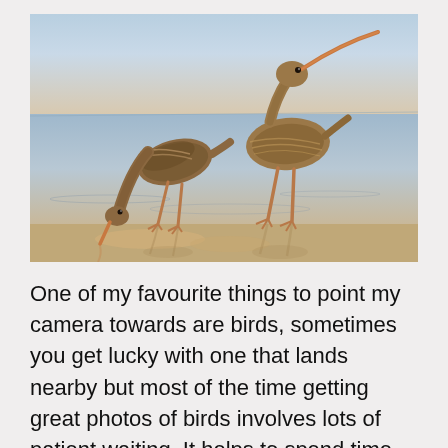[Figure (photo): Two wading shorebirds (godwits or curlews) standing in shallow water on a flat sandy beach. One bird is bending down with its long beak touching the water/sand, while the other stands upright. Both birds have mottled brown plumage. The photo has warm golden light and reflections visible in the shallow water.]
One of my favourite things to point my camera towards are birds, sometimes you get lucky with one that lands nearby but most of the time getting great photos of birds involves lots of patient waiting. It helps to spend time just watching and learning their behaviours and letting them get comfortable with you